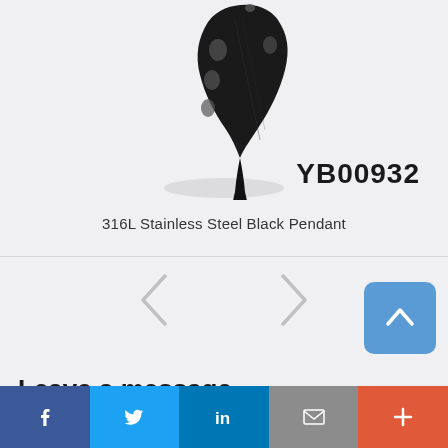[Figure (photo): Black stainless steel pendant with claw/fang shape, dark metallic finish with decorative holes, photographed on white/light gray background with shadow underneath]
YB00932
316L Stainless Steel Black Pendant
[Figure (other): Left and right navigation arrows for product image carousel]
[Figure (other): Back to top button - blue rounded square with upward chevron arrow]
Leave a message
[Figure (other): Social media sharing bar with Facebook, Twitter, LinkedIn, Email, and More (+) buttons]